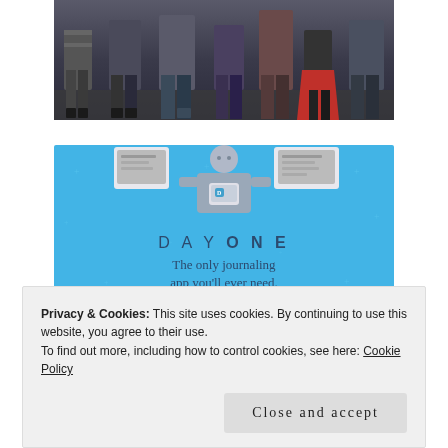[Figure (photo): Photo of a group of people standing together, lower bodies visible, dark background]
[Figure (illustration): Day One journaling app advertisement on blue background with illustrated person holding a phone, text reads 'DAY ONE - The only journaling app you'll ever need.' and a 'Get the app' button]
Privacy & Cookies: This site uses cookies. By continuing to use this website, you agree to their use.
To find out more, including how to control cookies, see here: Cookie Policy
Close and accept